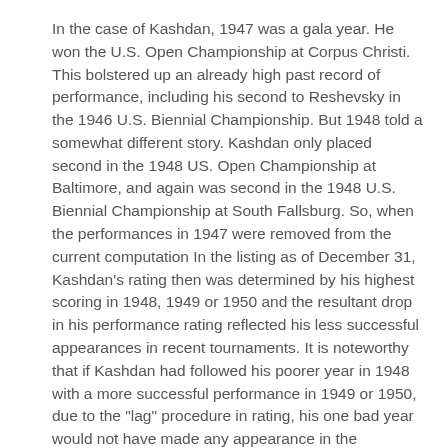In the case of Kashdan, 1947 was a gala year. He won the U.S. Open Championship at Corpus Christi. This bolstered up an already high past record of performance, including his second to Reshevsky in the 1946 U.S. Biennial Championship. But 1948 told a somewhat different story. Kashdan only placed second in the 1948 US. Open Championship at Baltimore, and again was second in the 1948 U.S. Biennial Championship at South Fallsburg. So, when the performances in 1947 were removed from the current computation In the listing as of December 31, Kashdan's rating then was determined by his highest scoring in 1948, 1949 or 1950 and the resultant drop in his performance rating reflected his less successful appearances in recent tournaments. It is noteworthy that if Kashdan had followed his poorer year in 1948 with a more successful performance in 1949 or 1950, due to the "lag" procedure in rating, his one bad year would not have made any appearance in the